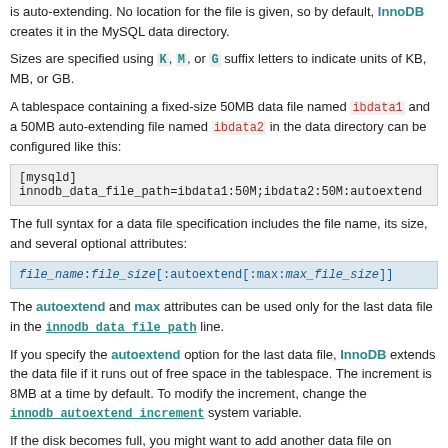is auto-extending. No location for the file is given, so by default, InnoDB creates it in the MySQL data directory.
Sizes are specified using K, M, or G suffix letters to indicate units of KB, MB, or GB.
A tablespace containing a fixed-size 50MB data file named ibdata1 and a 50MB auto-extending file named ibdata2 in the data directory can be configured like this:
[mysqld]
innodb_data_file_path=ibdata1:50M;ibdata2:50M:autoextend
The full syntax for a data file specification includes the file name, its size, and several optional attributes:
The autoextend and max attributes can be used only for the last data file in the innodb_data_file_path line.
If you specify the autoextend option for the last data file, InnoDB extends the data file if it runs out of free space in the tablespace. The increment is 8MB at a time by default. To modify the increment, change the innodb_autoextend_increment system variable.
If the disk becomes full, you might want to add another data file on